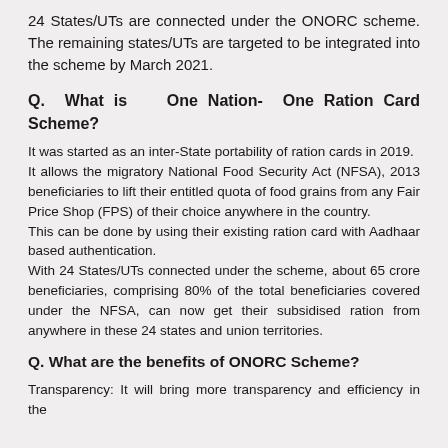24 States/UTs are connected under the ONORC scheme. The remaining states/UTs are targeted to be integrated into the scheme by March 2021.
Q. What is One Nation- One Ration Card Scheme?
It was started as an inter-State portability of ration cards in 2019. It allows the migratory National Food Security Act (NFSA), 2013 beneficiaries to lift their entitled quota of food grains from any Fair Price Shop (FPS) of their choice anywhere in the country. This can be done by using their existing ration card with Aadhaar based authentication. With 24 States/UTs connected under the scheme, about 65 crore beneficiaries, comprising 80% of the total beneficiaries covered under the NFSA, can now get their subsidised ration from anywhere in these 24 states and union territories.
Q. What are the benefits of ONORC Scheme?
Transparency: It will bring more transparency and efficiency in the